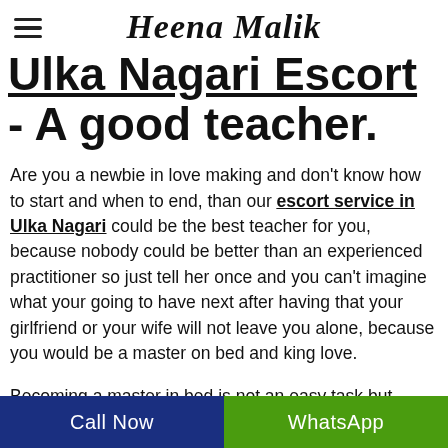Heena Malik
Ulka Nagari Escort - A good teacher.
Are you a newbie in love making and don't know how to start and when to end, than our escort service in Ulka Nagari could be the best teacher for you, because nobody could be better than an experienced practitioner so just tell her once and you can't imagine what your going to have next after having that your girlfriend or your wife will not leave you alone, because you would be a master on bed and king love.
Becoming a master in bed is not an easy task but trying
Call Now | WhatsApp